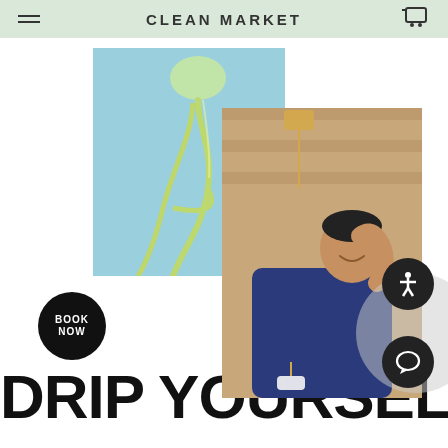CLEAN MARKET
[Figure (photo): Close-up photo of IV drip bag and tubing with green/gold metallic tubes against a light blue background]
[Figure (photo): Photo of a smiling man in a dark blue shirt reclining in a chair receiving IV therapy, with an IV bag hanging above him and slatted wood wall behind]
DRIP YOURSELF
BOOK NOW